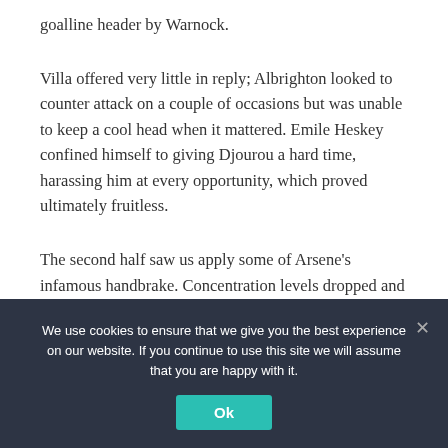goalline header by Warnock.
Villa offered very little in reply; Albrighton looked to counter attack on a couple of occasions but was unable to keep a cool head when it mattered. Emile Heskey confined himself to giving Djourou a hard time, harassing him at every opportunity, which proved ultimately fruitless.
The second half saw us apply some of Arsene’s infamous handbrake. Concentration levels dropped and possession was conceded by a few soft
We use cookies to ensure that we give you the best experience on our website. If you continue to use this site we will assume that you are happy with it.
Ok